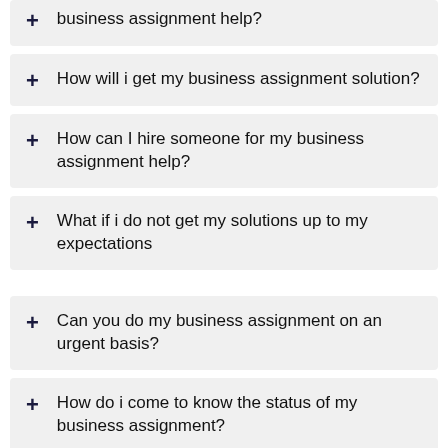business assignment help?
How will i get my business assignment solution?
How can I hire someone for my business assignment help?
What if i do not get my solutions up to my expectations
Can you do my business assignment on an urgent basis?
How do i come to know the status of my business assignment?
What topics are covered in business assignment help?